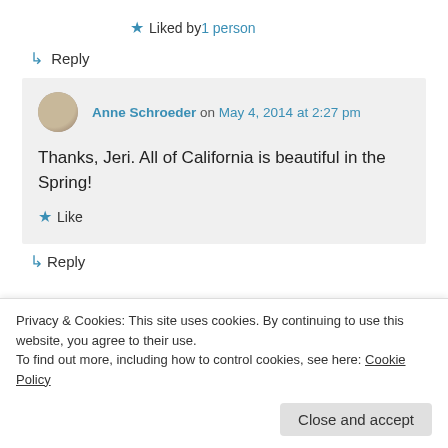★ Liked by 1 person
↳ Reply
Anne Schroeder on May 4, 2014 at 2:27 pm
Thanks, Jeri. All of California is beautiful in the Spring!
★ Like
↳ Reply
Privacy & Cookies: This site uses cookies. By continuing to use this website, you agree to their use.
To find out more, including how to control cookies, see here: Cookie Policy